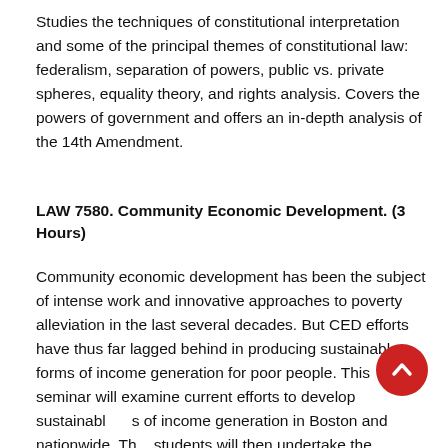Studies the techniques of constitutional interpretation and some of the principal themes of constitutional law: federalism, separation of powers, public vs. private spheres, equality theory, and rights analysis. Covers the powers of government and offers an in-depth analysis of the 14th Amendment.
LAW 7580. Community Economic Development. (3 Hours)
Community economic development has been the subject of intense work and innovative approaches to poverty alleviation in the last several decades. But CED efforts have thus far lagged behind in producing sustainable forms of income generation for poor people. This seminar will examine current efforts to develop sustainable forms of income generation in Boston and nationwide. The students will then undertake the process of developing a